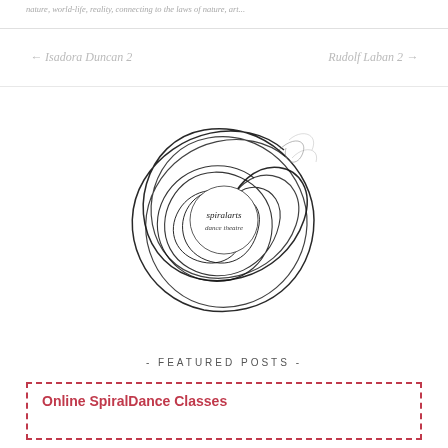nature, world-life, reality, connecting to the laws of nature, art...
← Isadora Duncan 2    Rudolf Laban 2 →
[Figure (logo): SpiralArts Dance Theatre logo — a swirling black spiral pattern with the text 'spiralarts dance theatre' in the center]
- FEATURED POSTS -
Online SpiralDance Classes